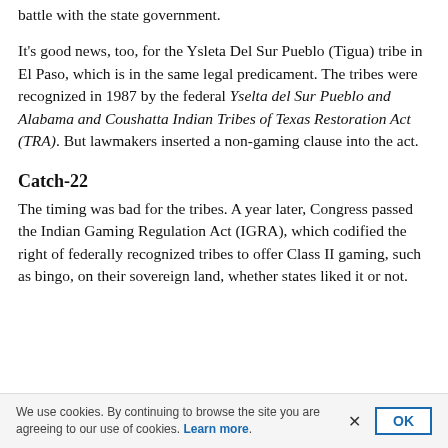battle with the state government.
It's good news, too, for the Ysleta Del Sur Pueblo (Tigua) tribe in El Paso, which is in the same legal predicament. The tribes were recognized in 1987 by the federal Yselta del Sur Pueblo and Alabama and Coushatta Indian Tribes of Texas Restoration Act (TRA). But lawmakers inserted a non-gaming clause into the act.
Catch-22
The timing was bad for the tribes. A year later, Congress passed the Indian Gaming Regulation Act (IGRA), which codified the right of federally recognized tribes to offer Class II gaming, such as bingo, on their sovereign land, whether states liked it or not.
We use cookies. By continuing to browse the site you are agreeing to our use of cookies. Learn more.